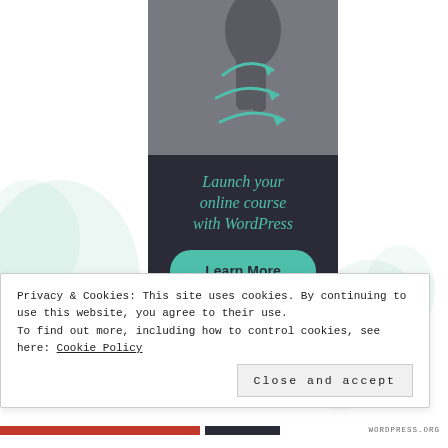[Figure (illustration): Advertisement banner with a photo of ballet dancer feet on dark background with teal arrow swirl graphic, and a dark navy box below with teal italic text 'Launch your online course with WordPress' and a teal rounded button 'Learn More'. Behind the banner is a faint green watercolor floral background.]
Privacy & Cookies: This site uses cookies. By continuing to use this website, you agree to their use.
To find out more, including how to control cookies, see here: Cookie Policy
Close and accept